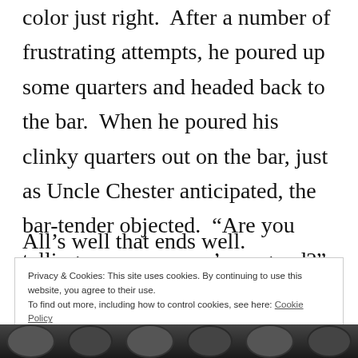color just right.  After a number of frustrating attempts, he poured up some quarters and headed back to the bar.  When he poured his clinky quarters out on the bar, just as Uncle Chester anticipated, the bar-tender objected.  “Are you telling me my money’s no good?”  A fight and arrest ensued.  Uncle Chester went back to Leavenworth for a refresher, polished his craft, and never had any more counterfeiting troubles.
All’s well that ends well.
Privacy & Cookies: This site uses cookies. By continuing to use this website, you agree to their use.
To find out more, including how to control cookies, see here: Cookie Policy
Close and accept
[Figure (photo): Dark photo strip at bottom of page showing partial view of people's faces/heads]